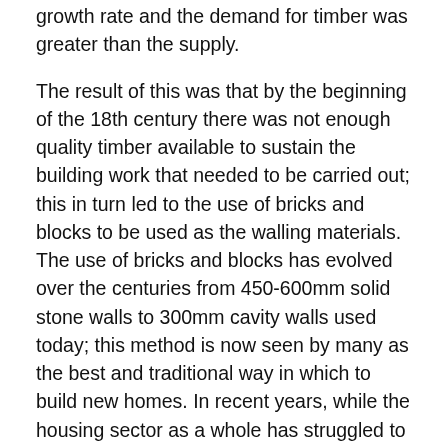growth rate and the demand for timber was greater than the supply.
The result of this was that by the beginning of the 18th century there was not enough quality timber available to sustain the building work that needed to be carried out; this in turn led to the use of bricks and blocks to be used as the walling materials. The use of bricks and blocks has evolved over the centuries from 450-600mm solid stone walls to 300mm cavity walls used today; this method is now seen by many as the best and traditional way in which to build new homes. In recent years, while the housing sector as a whole has struggled to meet demand, one area has shown consistent growth, Timber Frame.
This study is set out to ultimately discover weather timber frame provides a time effective solution to other traditional methods of construction. The main aim within this study is to find, and show if there are